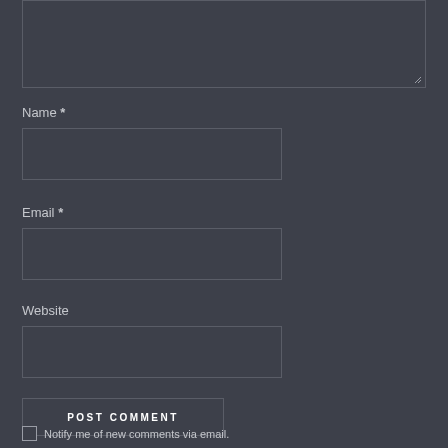[Figure (screenshot): Comment textarea input box (empty) with resize handle in bottom-right corner, dark themed]
Name *
[Figure (screenshot): Name input field, empty, dark themed]
Email *
[Figure (screenshot): Email input field, empty, dark themed]
Website
[Figure (screenshot): Website input field, empty, dark themed]
[Figure (screenshot): POST COMMENT button, dark themed]
Notify me of new comments via email.